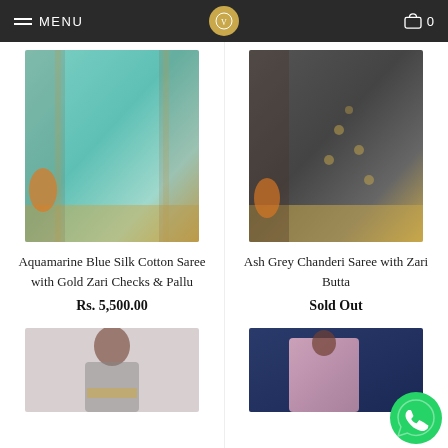MENU | [Logo] | Cart 0
[Figure (photo): Aquamarine Blue Silk Cotton Saree product photo]
Aquamarine Blue Silk Cotton Saree with Gold Zari Checks & Pallu
Rs. 5,500.00
[Figure (photo): Ash Grey Chanderi Saree with Zari Butta product photo]
Ash Grey Chanderi Saree with Zari Butta
Sold Out
[Figure (photo): Grey saree product photo (partial, bottom row left)]
[Figure (photo): Pink saree product photo (partial, bottom row right)]